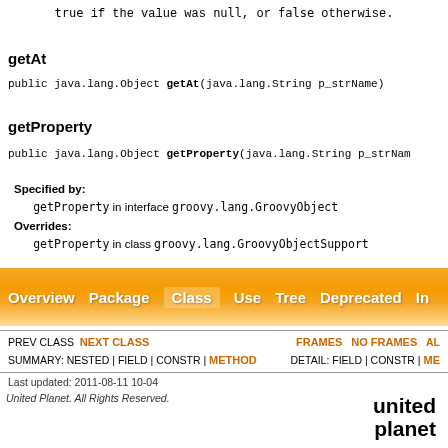true if the value was null, or false otherwise.
getAt
public java.lang.Object getAt(java.lang.String p_strName)
getProperty
public java.lang.Object getProperty(java.lang.String p_strNam...
Specified by:
    getProperty in interface groovy.lang.GroovyObject
Overrides:
    getProperty in class groovy.lang.GroovyObjectSupport
[Figure (screenshot): Orange navigation bar with links: Overview, Package, Class (active), Use, Tree, Deprecated, Index (partially visible)]
PREV CLASS  NEXT CLASS  |  FRAMES  NO FRAMES  ALL
SUMMARY: NESTED | FIELD | CONSTR | METHOD  |  DETAIL: FIELD | CONSTR | ME...
Last updated: 2011-08-11 10-04
United Planet. All Rights Reserved.
[Figure (logo): United Planet logo in bold black text]